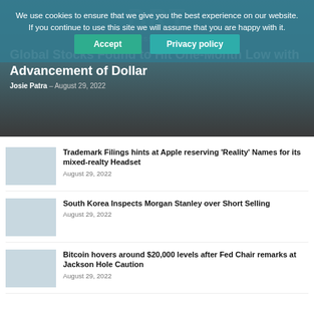We use cookies to ensure that we give you the best experience on our website. If you continue to use this site we will assume that you are happy with it.
Accept | Privacy policy
Global Stocks Found to Hit One-Month Low with Advancement of Dollar
Josie Patra - August 29, 2022
Trademark Filings hints at Apple reserving 'Reality' Names for its mixed-realty Headset
August 29, 2022
South Korea Inspects Morgan Stanley over Short Selling
August 29, 2022
Bitcoin hovers around $20,000 levels after Fed Chair remarks at Jackson Hole Caution
August 29, 2022